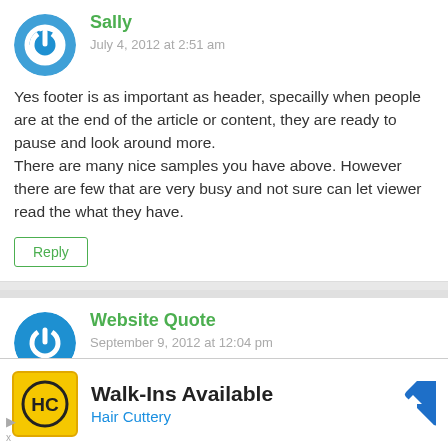Sally
July 4, 2012 at 2:51 am
Yes footer is as important as header, specailly when people are at the end of the article or content, they are ready to pause and look around more.
There are many nice samples you have above. However there are few that are very busy and not sure can let viewer read the what they have.
Reply
Website Quote
September 9, 2012 at 12:04 pm
Walk-Ins Available
Hair Cuttery